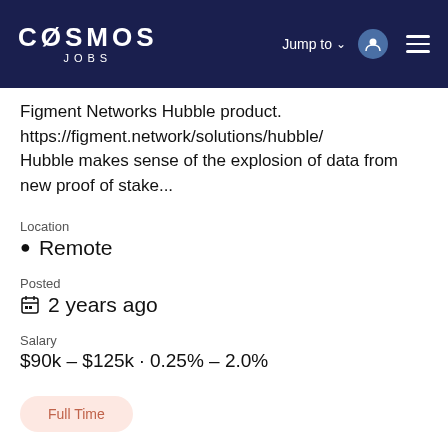COSMOS JOBS
Figment Networks Hubble product. https://figment.network/solutions/hubble/ Hubble makes sense of the explosion of data from new proof of stake...
Location
📍 Remote
Posted
📅 2 years ago
Salary
$90k – $125k · 0.25% – 2.0%
Full Time